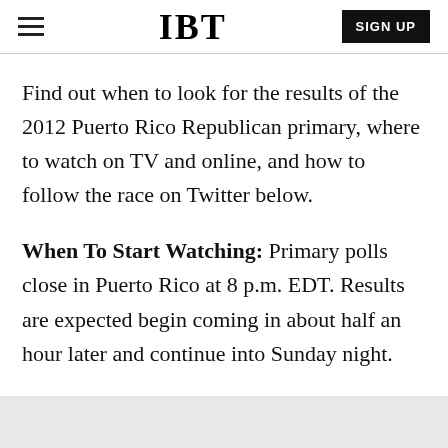IBT | SIGN UP
Find out when to look for the results of the 2012 Puerto Rico Republican primary, where to watch on TV and online, and how to follow the race on Twitter below.
When To Start Watching: Primary polls close in Puerto Rico at 8 p.m. EDT. Results are expected begin coming in about half an hour later and continue into Sunday night.